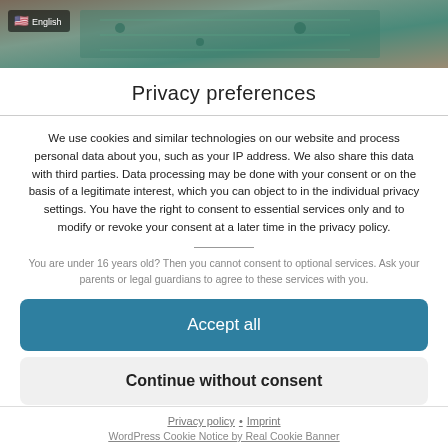[Figure (photo): Background photo strip showing a circuit board with a US flag English language selector overlay in the top-left corner]
Privacy preferences
We use cookies and similar technologies on our website and process personal data about you, such as your IP address. We also share this data with third parties. Data processing may be done with your consent or on the basis of a legitimate interest, which you can object to in the individual privacy settings. You have the right to consent to essential services only and to modify or revoke your consent at a later time in the privacy policy.
You are under 16 years old? Then you cannot consent to optional services. Ask your parents or legal guardians to agree to these services with you.
Accept all
Continue without consent
Individual privacy preferences
Privacy policy • Imprint
WordPress Cookie Notice by Real Cookie Banner